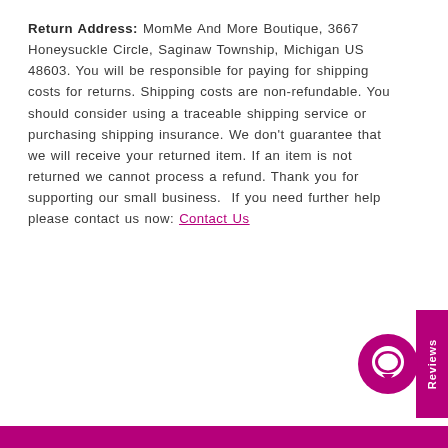Return Address: MomMe And More Boutique, 3667 Honeysuckle Circle, Saginaw Township, Michigan US 48603. You will be responsible for paying for shipping costs for returns. Shipping costs are non-refundable. You should consider using a traceable shipping service or purchasing shipping insurance. We don't guarantee that we will receive your returned item. If an item is not returned we cannot process a refund. Thank you for supporting our small business. If you need further help please contact us now: Contact Us